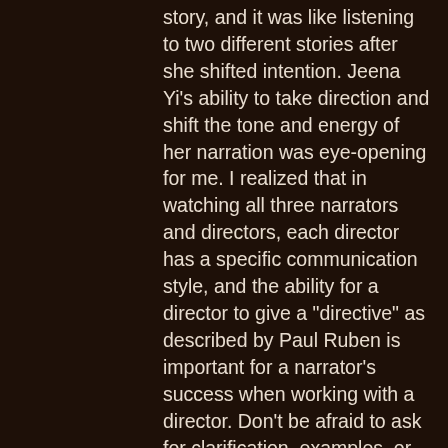story, and it was like listening to two different stories after she shifted intention. Jeena Yi's ability to take direction and shift the tone and energy of her narration was eye-opening for me. I realized that in watching all three narrators and directors, each director has a specific communication style, and the ability for a director to give a "directive" as described by Paul Ruben is important for a narrator's success when working with a director. Don't be afraid to ask for clarification, examples, or an alternate directive if you are just not "getting it" when working with a director.
In the Tech in the Time of COVID panel discussion, I don't think I walked away